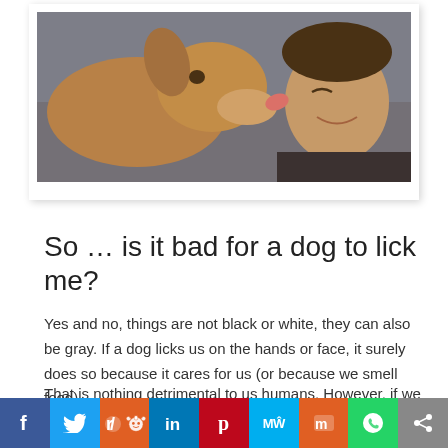[Figure (photo): A dog licking a man's face outdoors, sepia/warm tone photo with a white photo-frame border]
So … is it bad for a dog to lick me?
Yes and no, things are not black or white, they can also be gray. If a dog licks us on the hands or face, it surely does so because it cares for us (or because we smell food).
That is nothing detrimental to us humans. However, if we have an open wound or our dog licks us in the mouth, we are at great risk of acquiring an infection.
[Figure (infographic): Social media sharing bar with icons for Facebook, Twitter, Reddit, LinkedIn, Pinterest, MeWe, Mix, WhatsApp, and Share]